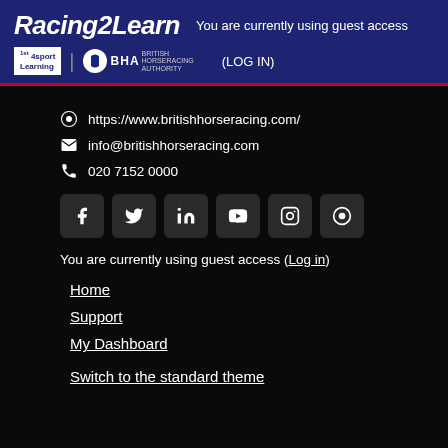Racing2Learn — You are currently using guest access (LOG IN)
https://www.britishhorseracing.com/
info@britishhorseracing.com
020 7152 0000
[Figure (other): Social media icons: Facebook, Twitter, LinkedIn, YouTube, Instagram, Globe]
You are currently using guest access (Log in)
Home
Support
My Dashboard
Switch to the standard theme